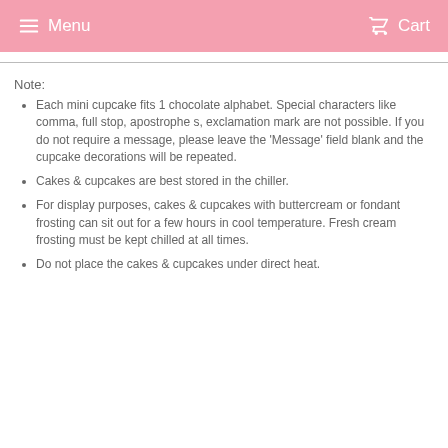Menu  Cart
Note:
Each mini cupcake fits 1 chocolate alphabet. Special characters like comma, full stop, apostrophe s, exclamation mark are not possible. If you do not require a message, please leave the 'Message' field blank and the cupcake decorations will be repeated.
Cakes & cupcakes are best stored in the chiller.
For display purposes, cakes & cupcakes with buttercream or fondant frosting can sit out for a few hours in cool temperature. Fresh cream frosting must be kept chilled at all times.
Do not place the cakes & cupcakes under direct heat.